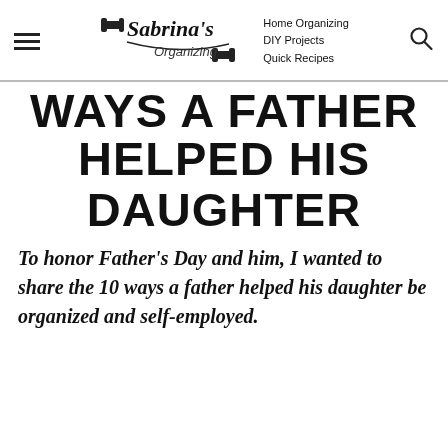Sabrina's Organizing | Home Organizing | DIY Projects | Quick Recipes
WAYS A FATHER HELPED HIS DAUGHTER
To honor Father's Day and him, I wanted to share the 10 ways a father helped his daughter be organized and self-employed.